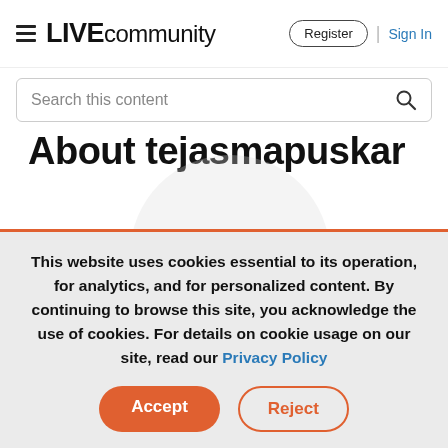LIVE community | Register | Sign In
Search this content
About tejasmapuskar
Search this content
This website uses cookies essential to its operation, for analytics, and for personalized content. By continuing to browse this site, you acknowledge the use of cookies. For details on cookie usage on our site, read our Privacy Policy